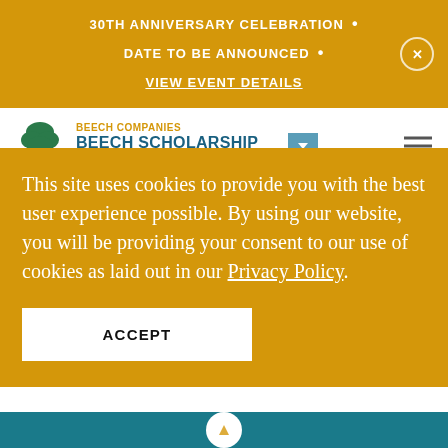30TH ANNIVERSARY CELEBRATION • DATE TO BE ANNOUNCED • VIEW EVENT DETAILS
[Figure (logo): Beech Companies / Beech Scholarship Fund logo with tree icon]
This site uses cookies to provide you with the best user experience possible. By using our website, you will be providing your consent to our use of cookies as laid out in our Privacy Policy.
ACCEPT